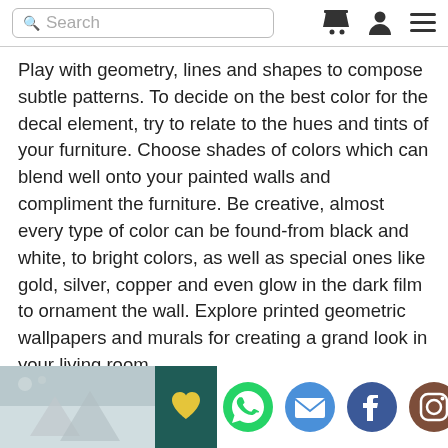Search
Play with geometry, lines and shapes to compose subtle patterns. To decide on the best color for the decal element, try to relate to the hues and tints of your furniture. Choose shades of colors which can blend well onto your painted walls and compliment the furniture. Be creative, almost every type of color can be found-from black and white, to bright colors, as well as special ones like gold, silver, copper and even glow in the dark film to ornament the wall. Explore printed geometric wallpapers and murals for creating a grand look in your living room.
♥ Suggested Read: DIY Wall Decor Ideas To Complete Work From Home Setup ♥
[Figure (photo): Bottom bar with a photo of a room on the left, social share buttons (favorites, WhatsApp, email, Facebook, Instagram) in the center, and a chevron pattern photo on the right]